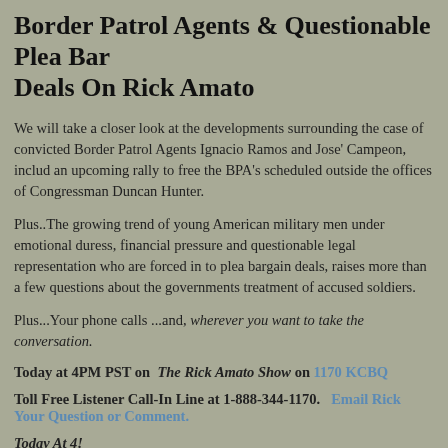Border Patrol Agents & Questionable Plea Bargain Deals On Rick Amato
We will take a closer look at the developments surrounding the case of convicted Border Patrol Agents Ignacio Ramos and Jose' Campeon, including an upcoming rally to free the BPA's scheduled outside the offices of Congressman Duncan Hunter.
Plus..The growing trend of young American military men under emotional duress, financial pressure and questionable legal representation who are forced in to plea bargain deals, raises more than a few questions about the governments treatment of accused soldiers.
Plus...Your phone calls ...and, wherever you want to take the conversation.
Today at 4PM PST on The Rick Amato Show on 1170 KCBQ
Toll Free Listener Call-In Line at 1-888-344-1170. Email Rick Your Question or Comment.
Today At 4!
Listen online at amatotalk.com
January 27, 2007 in Show Topics and Guests | Permalink | Comments (2) | TrackBack (0)